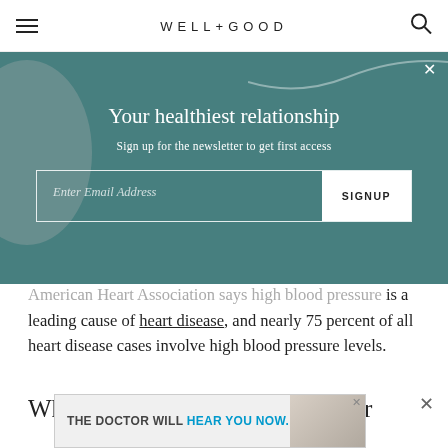WELL+GOOD
[Figure (screenshot): Newsletter signup overlay with teal background, title 'Your healthiest relationship', subtitle 'Sign up for the newsletter to get first access', email input field and SIGNUP button]
American Heart Association says high blood pressure is a leading cause of heart disease, and nearly 75 percent of all heart disease cases involve high blood pressure levels.
When should someone check their
[Figure (screenshot): Advertisement banner reading 'THE DOCTOR WILL HEAR YOU NOW.' with image of two women]